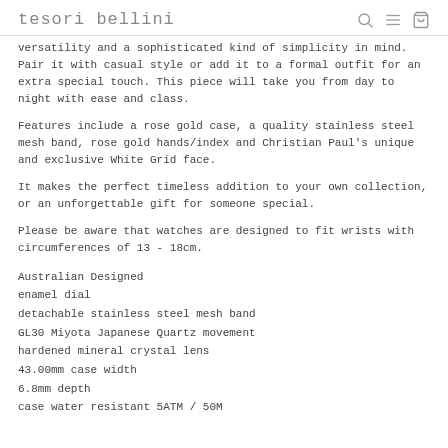tesori bellini
versatility and a sophisticated kind of simplicity in mind. Pair it with casual style or add it to a formal outfit for an extra special touch. This piece will take you from day to night with ease and class.
Features include a rose gold case, a quality stainless steel mesh band, rose gold hands/index and Christian Paul’s unique and exclusive White Grid face.
It makes the perfect timeless addition to your own collection, or an unforgettable gift for someone special.
Please be aware that watches are designed to fit wrists with circumferences of 13 - 18cm.
Australian Designed
enamel dial
detachable stainless steel mesh band
GL30 Miyota Japanese Quartz movement
hardened mineral crystal lens
43.00mm case width
6.8mm depth
case water resistant 5ATM / 50M